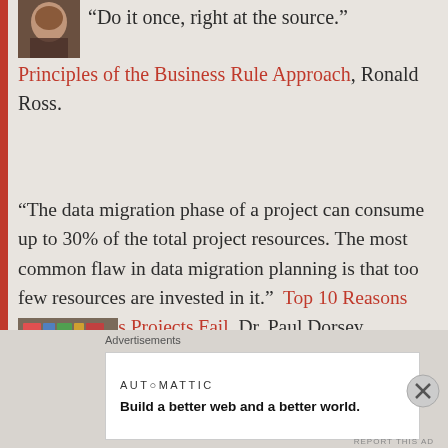[Figure (photo): Small portrait photo of a person, cropped at top of page]
“Do it once, right at the source.” Principles of the Business Rule Approach, Ronald Ross.
“The data migration phase of a project can consume up to 30% of the total project resources. The most common flaw in data migration planning is that too few resources are invested in it.”  Top 10 Reasons Why Systems Projects Fail. Dr. Paul Dorsey.
[Figure (photo): Portrait photo of a person with grey hair in front of bookshelves]
Advertisements
[Figure (logo): Automattic logo and tagline: Build a better web and a better world.]